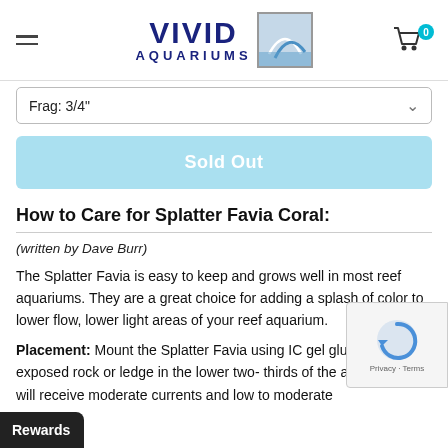VIVID AQUARIUMS
Frag: 3/4"
Sold Out
How to Care for Splatter Favia Coral:
(written by Dave Burr)
The Splatter Favia is easy to keep and grows well in most reef aquariums. They are a great choice for adding a splash of color to lower flow, lower light areas of your reef aquarium.
Placement: Mount the Splatter Favia using IC gel glue, or p an exposed rock or ledge in the lower two- thirds of the aqu where it will receive moderate currents and low to moderate